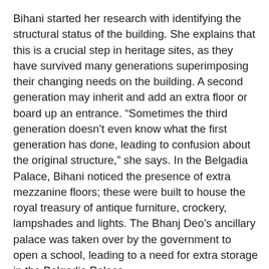Bihani started her research with identifying the structural status of the building. She explains that this is a crucial step in heritage sites, as they have survived many generations superimposing their changing needs on the building. A second generation may inherit and add an extra floor or board up an entrance. “Sometimes the third generation doesn’t even know what the first generation has done, leading to confusion about the original structure,” she says. In the Belgadia Palace, Bihani noticed the presence of extra mezzanine floors; these were built to house the royal treasury of antique furniture, crockery, lampshades and lights. The Bhanj Deo’s ancillary palace was taken over by the government to open a school, leading to a need for extra storage in the Belgadia Palace.